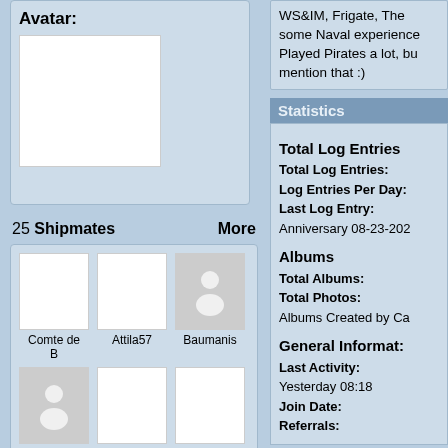Avatar:
25 Shipmates   More
[Figure (other): Grid of 9 shipmate avatars with names: Comte de B, Attila57, Baumanis, calypso, Wentwort, Horatio, Dr.Maturi, KDz, WarBoar, and a partial 10th]
WS&IM, Frigate, The some Naval experience Played Pirates a lot, bu mention that :)
Statistics
Total Log Entries
Total Log Entries:
Log Entries Per Day:
Last Log Entry:
Anniversary 08-23-202
Albums
Total Albums:
Total Photos:
Albums Created by Ca
General Informat:
Last Activity:
Yesterday 08:18
Join Date:
Referrals: